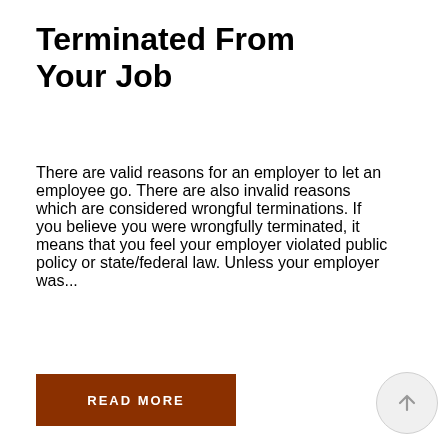Terminated From Your Job
There are valid reasons for an employer to let an employee go. There are also invalid reasons which are considered wrongful terminations. If you believe you were wrongfully terminated, it means that you feel your employer violated public policy or state/federal law. Unless your employer was...
READ MORE